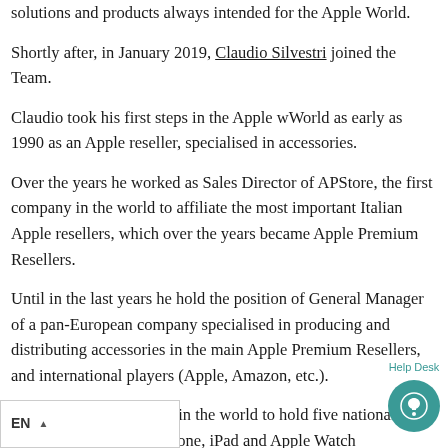solutions and products always intended for the Apple World.
Shortly after, in January 2019, Claudio Silvestri joined the Team.
Claudio took his first steps in the Apple wWorld as early as 1990 as an Apple reseller, specialised in accessories.
Over the years he worked as Sales Director of APStore, the first company in the world to affiliate the most important Italian Apple resellers, which over the years became Apple Premium Resellers.
Until in the last years he hold the position of General Manager of a pan-European company specialised in producing and distributing accessories in the main Apple Premium Resellers, and international players (Apple, Amazon, etc.).
Claudio is one of the few in the world to hold five national patents in the field of iPhone, iPad and Apple Watch protections.